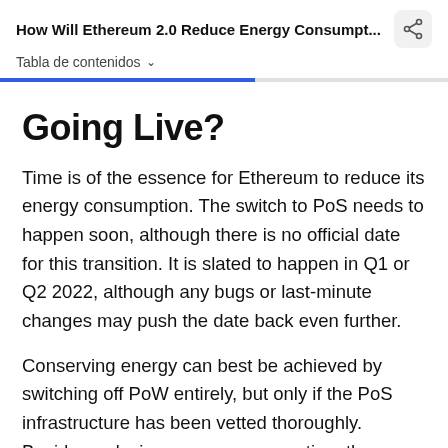How Will Ethereum 2.0 Reduce Energy Consumpt...
Tabla de contenidos
Going Live?
Time is of the essence for Ethereum to reduce its energy consumption. The switch to PoS needs to happen soon, although there is no official date for this transition. It is slated to happen in Q1 or Q2 2022, although any bugs or last-minute changes may push the date back even further.
Conserving energy can best be achieved by switching off PoW entirely, but only if the PoS infrastructure has been vetted thoroughly. Besides reducing energy consumption, the merge also promises increased